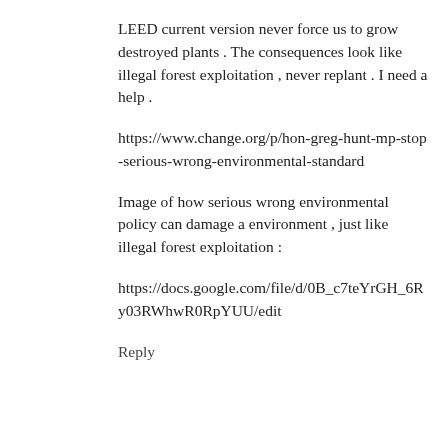LEED current version never force us to grow destroyed plants . The consequences look like illegal forest exploitation , never replant . I need a help .
https://www.change.org/p/hon-greg-hunt-mp-stop-serious-wrong-environmental-standard
Image of how serious wrong environmental policy can damage a environment , just like illegal forest exploitation :
https://docs.google.com/file/d/0B_c7teYrGH_6Ry03RWhwR0RpYUU/edit
Reply